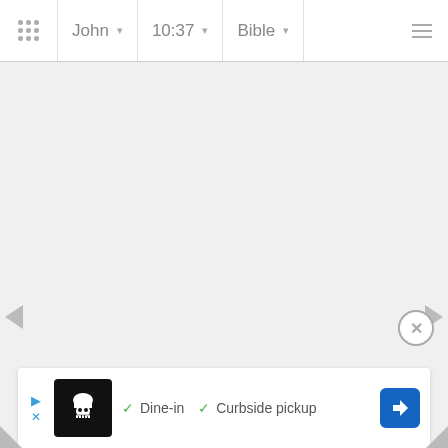John  10:37  Bible
[Figure (screenshot): Bible app screenshot showing navigation bar with John 10:37 Bible selectors, empty content area with left/right navigation arrows, a close button, and an advertisement banner at the bottom showing a food delivery app with Dine-in and Curbside pickup options]